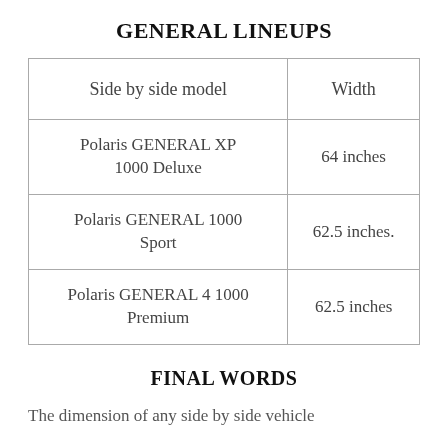GENERAL LINEUPS
| Side by side model | Width |
| --- | --- |
| Polaris GENERAL XP 1000 Deluxe | 64 inches |
| Polaris GENERAL 1000 Sport | 62.5 inches. |
| Polaris GENERAL 4 1000 Premium | 62.5 inches |
FINAL WORDS
The dimension of any side by side vehicle